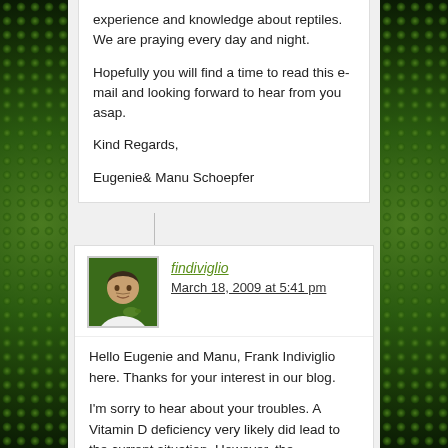experience and knowledge about reptiles. We are praying every day and night.
Hopefully you will find a time to read this e-mail and looking forward to hear from you asap.
Kind Regards,
Eugenie& Manu Schoepfer
findiviglio
March 18, 2009 at 5:41 pm
[Figure (photo): Avatar photo of Frank Indiviglio, a man in a white shirt holding a small reptile, photographed against a green background]
Hello Eugenie and Manu, Frank Indiviglio here. Thanks for your interest in our blog.
I'm sorry to hear about your troubles. A Vitamin D deficiency very likely did lead to the current situation. However, the veterinarians I have worked with in zoological parks most often administer an injection of Calcium. Oups, to say the...